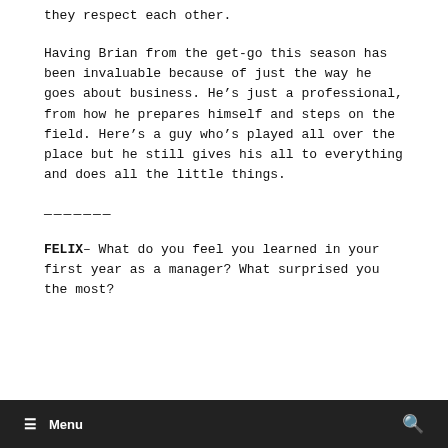they respect each other.
Having Brian from the get-go this season has been invaluable because of just the way he goes about business. He’s just a professional, from how he prepares himself and steps on the field. Here’s a guy who’s played all over the place but he still gives his all to everything and does all the little things.
———————
FELIX– What do you feel you learned in your first year as a manager? What surprised you the most?
☰ Menu  🔍